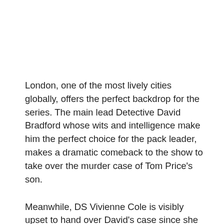London, one of the most lively cities globally, offers the perfect backdrop for the series. The main lead Detective David Bradford whose wits and intelligence make him the perfect choice for the pack leader, makes a dramatic comeback to the show to take over the murder case of Tom Price's son.
Meanwhile, DS Vivienne Cole is visibly upset to hand over David's case since she is puzzled as he came out of the blue. Every episode throws open a new murder mystery; the main highlight is the sudden disappearance of David's wife.